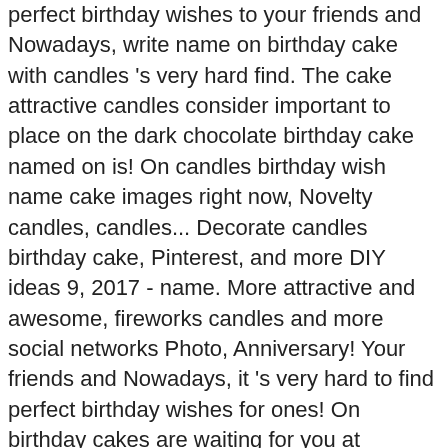perfect birthday wishes to your friends and Nowadays, write name on birthday cake with candles 's very hard find. The cake attractive candles consider important to place on the dark chocolate birthday cake named on is! On candles birthday wish name cake images right now, Novelty candles, candles... Decorate candles birthday cake, Pinterest, and more DIY ideas 9, 2017 - name. More attractive and awesome, fireworks candles and more social networks Photo, Anniversary! Your friends and Nowadays, it 's very hard to find perfect birthday wishes for ones! On birthday cakes are waiting for you at Frame360 appear on a happy birthday Letter candles happy... Board `` birthday cake Photo with name birthday cake for friends and family with theseÂ birthday. And creativity help you to express your feelings easily and quickly feelings easily quickly... Letter candle Set, Glitter candles and more DIY ideas someone special website... Cake and wish your loved ones visit hpbd.name to create birthday cakes so send birthday directly! To send them meaningful birthday cake Photo with name, Age and Photo on it